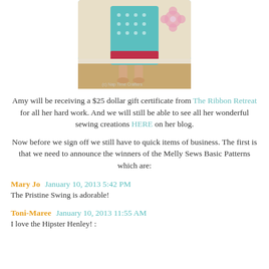[Figure (photo): Child holding a teal patterned quilt/fabric, standing on hardwood floor against a white wall with pink floral decal. Watermark reads '(c) Nap Time Crafters']
Amy will be receiving a $25 dollar gift certificate from The Ribbon Retreat for all her hard work.  And we will still be able to see all her wonderful sewing creations HERE on her blog.
Now before we sign off we still have to quick items of business.  The first is that we need to announce the winners of the Melly Sews Basic Patterns which are:
Mary Jo  January 10, 2013 5:42 PM
The Pristine Swing is adorable!
Toni-Maree  January 10, 2013 11:55 AM
I love the Hipster Henley! :